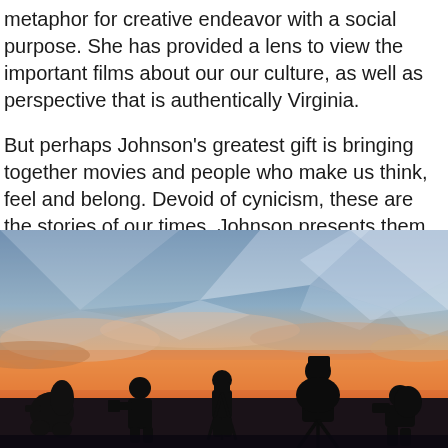metaphor for creative endeavor with a social purpose. She has provided a lens to view the important films about our our culture, as well as perspective that is authentically Virginia.

But perhaps Johnson's greatest gift is bringing together movies and people who make us think, feel and belong. Devoid of cynicism, these are the stories of our times. Johnson presents them as a kindred spirit in a place called Middleburg.

(Source:www.loudountimes.com)
[Figure (photo): Silhouettes of five photographers/filmmakers with cameras and tripods against a dramatic sunset sky with orange, red and purple hues. A geometric polygon overlay pattern appears in the upper portion of the image.]